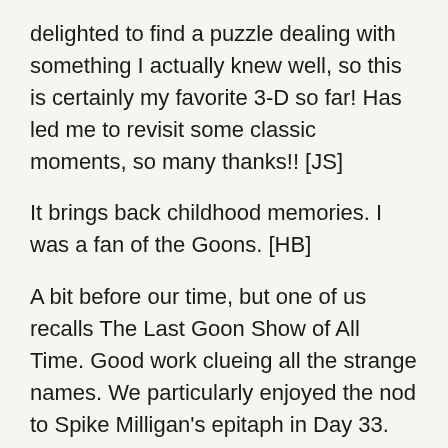delighted to find a puzzle dealing with something I actually knew well, so this is certainly my favorite 3-D so far! Has led me to revisit some classic moments, so many thanks!! [JS]
It brings back childhood memories. I was a fan of the Goons. [HB]
A bit before our time, but one of us recalls The Last Goon Show of All Time. Good work clueing all the strange names. We particularly enjoyed the nod to Spike Milligan's epitaph in Day 33. Thanks! [N&SI]
Another theme that folks in the US don't really know, but these can be fun to learn about. [AB]
Once I got the theme there were a number of